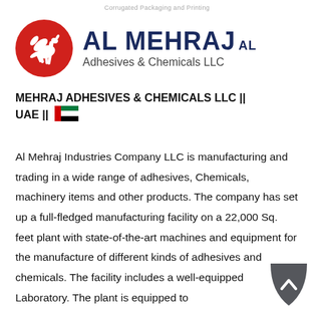Corrugated Packaging and Printing
[Figure (logo): Al Mehraj Al Adhesives & Chemicals LLC logo — red circle with white pegasus on left, large dark navy text 'AL MEHRAJ AL' and subtitle 'Adhesives & Chemicals LLC' on right]
MEHRAJ ADHESIVES & CHEMICALS LLC || UAE || 🇦🇪
Al Mehraj Industries Company LLC is manufacturing and trading in a wide range of adhesives, Chemicals, machinery items and other products. The company has set up a full-fledged manufacturing facility on a 22,000 Sq. feet plant with state-of-the-art machines and equipment for the manufacture of different kinds of adhesives and chemicals. The facility includes a well-equipped Laboratory. The plant is equipped to
[Figure (illustration): Dark grey rounded leaf/shield shaped scroll-to-top button with white upward chevron arrow]